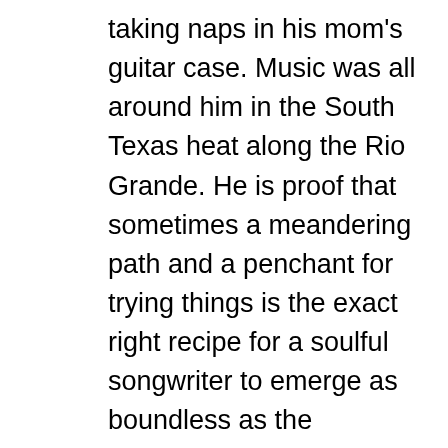taking naps in his mom's guitar case. Music was all around him in the South Texas heat along the Rio Grande. He is proof that sometimes a meandering path and a penchant for trying things is the exact right recipe for a soulful songwriter to emerge as boundless as the landscape he grew up around. The Harlingen, Texas area native now based in Houston is recording his debut album, a literal lifetime in the making for the songwriter whose life story, while still in the making, is undeniable fodder for interesting, moving songs driven by heart and grounded in strong roots.